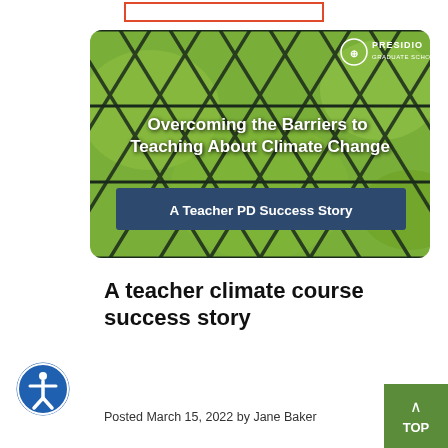[Figure (illustration): Presidio Graduate School blog post hero image showing chain-link fence with green background. Title text: 'Overcoming the Barriers to Teaching About Climate Change'. Subtitle band: 'A Teacher PD Success Story'. Logo at top right: Presidio Graduate School.]
A teacher climate course success story
Posted March 15, 2022 by Jane Baker